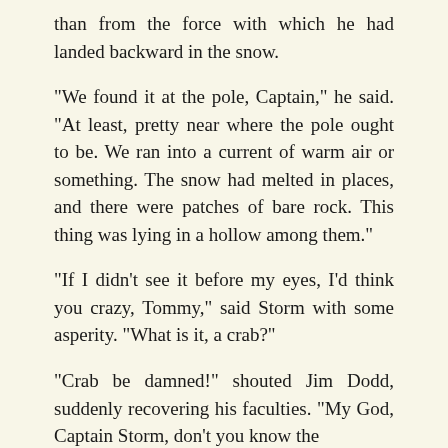than from the force with which he had landed backward in the snow.
"We found it at the pole, Captain," he said. "At least, pretty near where the pole ought to be. We ran into a current of warm air or something. The snow had melted in places, and there were patches of bare rock. This thing was lying in a hollow among them."
"If I didn't see it before my eyes, I'd think you crazy, Tommy," said Storm with some asperity. "What is it, a crab?"
"Crab be damned!" shouted Jim Dodd, suddenly recovering his faculties. "My God, Captain Storm, don't you know the